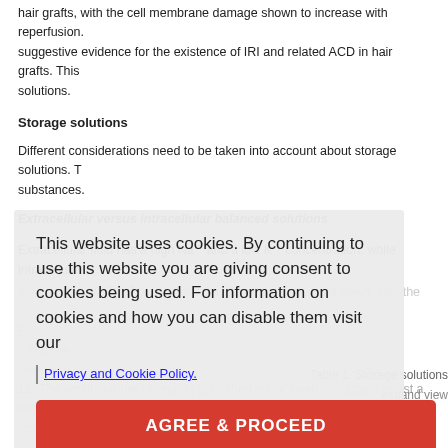hair grafts, with the cell membrane damage shown to increase with reperfusion. suggestive evidence for the existence of IRI and related ACD in hair grafts. This solutions.
Storage solutions
Different considerations need to be taken into account about storage solutions. T substances.
Extracellular versus intracellular balanced solutions
Extracellular fluid has a high Na + and a low K + concentration, while intracellula storage, the Na +/K + pumps and Ca 2+ channels are shut down, with the potent R ionic bala s into the c ves, but a 11. The small number of reports published so far been to suggest at ast a mod r compared to normal sa ne, but gre
Table 1. Storage solutions
expand view